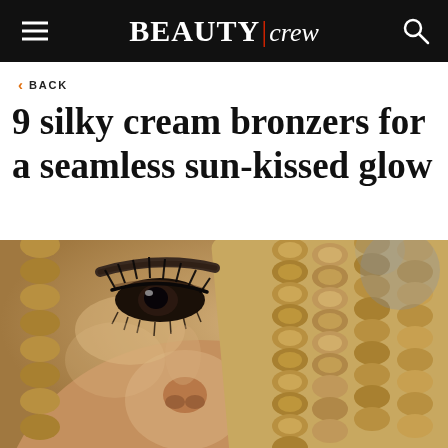BEAUTY/crew
< BACK
9 silky cream bronzers for a seamless sun-kissed glow
[Figure (photo): Close-up photo of a woman with golden braided hair and dramatic eye makeup, showing bronzed glowing skin near nose and cheekbone area.]